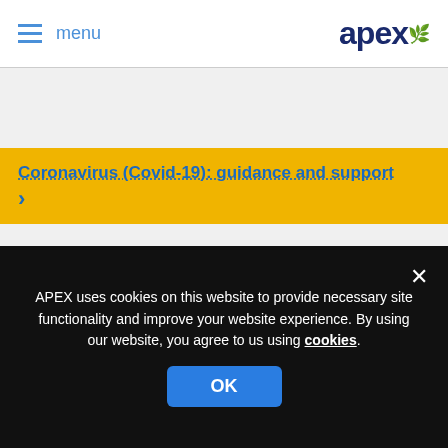menu | apex
Coronavirus (Covid-19): guidance and support >
Find a home from over 6,000 Apex properties throughout Northern Ireland
Locations
Property Types
APEX uses cookies on this website to provide necessary site functionality and improve your website experience. By using our website, you agree to us using cookies.